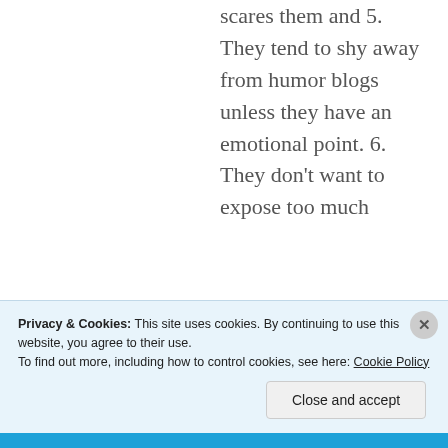scares them and 5. They tend to shy away from humor blogs unless they have an emotional point. 6. They don't want to expose too much
Privacy & Cookies: This site uses cookies. By continuing to use this website, you agree to their use. To find out more, including how to control cookies, see here: Cookie Policy
Close and accept